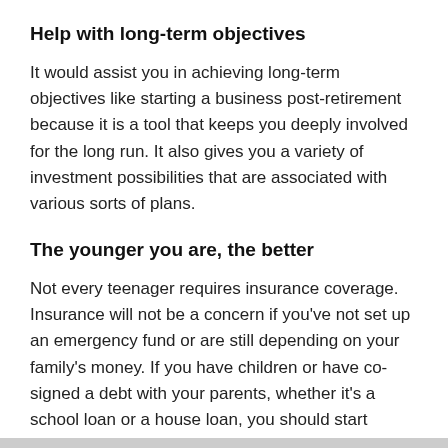Help with long-term objectives
It would assist you in achieving long-term objectives like starting a business post-retirement because it is a tool that keeps you deeply involved for the long run. It also gives you a variety of investment possibilities that are associated with various sorts of plans.
The younger you are, the better
Not every teenager requires insurance coverage. Insurance will not be a concern if you’ve not set up an emergency fund or are still depending on your family’s money. If you have children or have co-signed a debt with your parents, whether it’s a school loan or a house loan, you should start thinking about purchasing a life insurance policy. Furthermore, while you’re single, the cost of insurance is substantially lower. Agents may